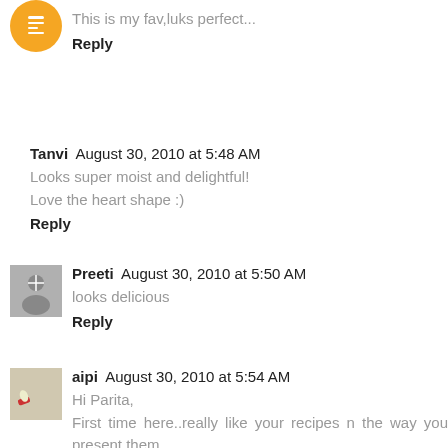This is my fav,luks perfect...
Reply
Tanvi August 30, 2010 at 5:48 AM
Looks super moist and delightful!
Love the heart shape :)
Reply
Preeti August 30, 2010 at 5:50 AM
looks delicious
Reply
aipi August 30, 2010 at 5:54 AM
Hi Parita,
First time here..really like your recipes n the way you present them..